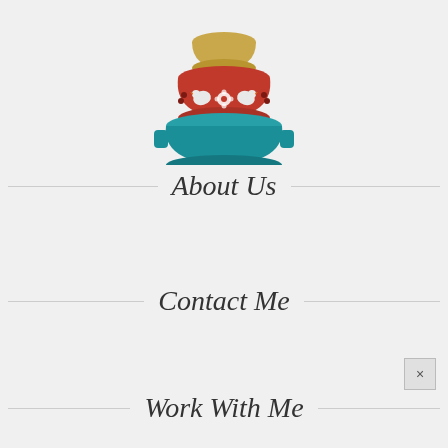[Figure (logo): Stacked nesting bowls logo: top bowl is tan/gold colored, middle bowl is red with white bird and flower folk art decoration, bottom bowl is teal/turquoise colored]
About Us
Contact Me
Work With Me